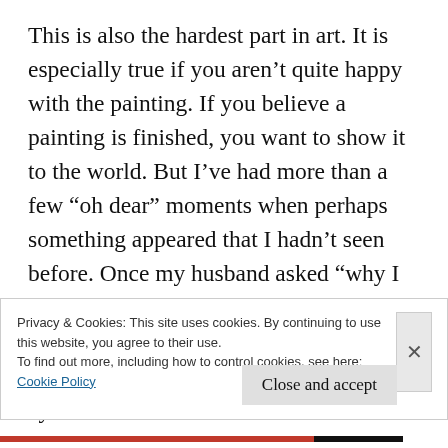This is also the hardest part in art. It is especially true if you aren't quite happy with the painting. If you believe a painting is finished, you want to show it to the world. But I've had more than a few “oh dear” moments when perhaps something appeared that I hadn't seen before. Once my husband asked “why I put that face in the painting.” Don't get me wrong; it's not always a bad thing. But if that is the only thing your viewer's eye focuses
Privacy & Cookies: This site uses cookies. By continuing to use this website, you agree to their use.
To find out more, including how to control cookies, see here:
Cookie Policy
Close and accept